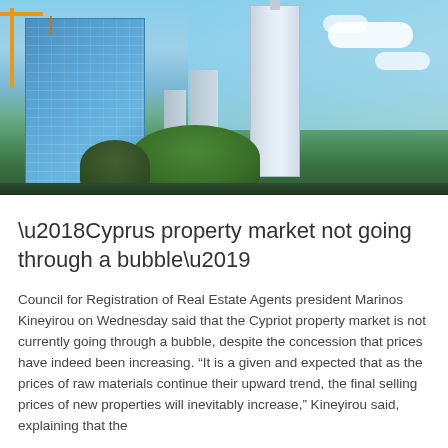[Figure (photo): Construction site with a tall building under construction with blue scaffolding/glass facade and crane on the left, a white skyscraper in the middle-right, smaller buildings, and trees in the foreground against a blue sky with clouds.]
‘Cyprus property market not going through a bubble’
Council for Registration of Real Estate Agents president Marinos Kineyirou on Wednesday said that the Cypriot property market is not currently going through a bubble, despite the concession that prices have indeed been increasing. “It is a given and expected that as the prices of raw materials continue their upward trend, the final selling prices of new properties will inevitably increase,” Kineyirou said, explaining that the